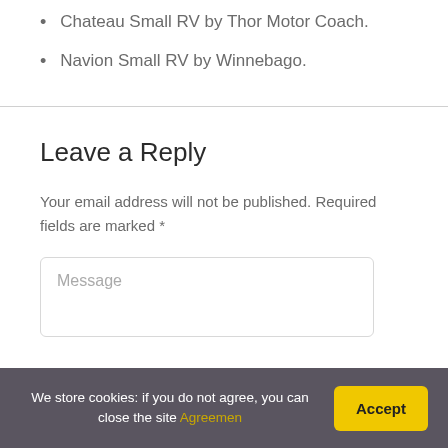Chateau Small RV by Thor Motor Coach.
Navion Small RV by Winnebago.
Leave a Reply
Your email address will not be published. Required fields are marked *
Message
We store cookies: if you do not agree, you can close the site Agreemen  Accept